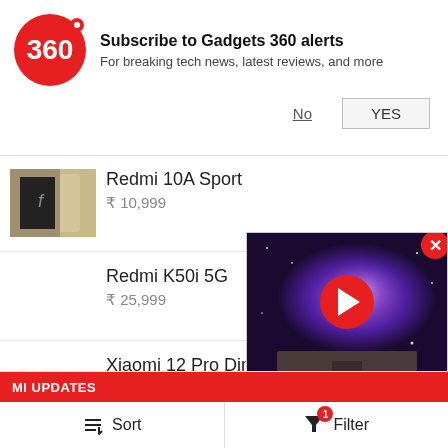[Figure (screenshot): Gadgets 360 subscription notification bar with red circular logo showing '360', bold title 'Subscribe to Gadgets 360 alerts', subtitle 'For breaking tech news, latest reviews, and more', with 'No' and 'YES' buttons]
[Figure (photo): Partial product thumbnail image showing a gold/champagne colored device]
Redmi 10A Sport
₹ 10,999
Redmi K50i 5G
₹ 25,999
Xiaomi 12 Pro Dimensity
Xiaomi 12S Ultra
[Figure (screenshot): Video player overlay showing a TV displaying galaxy/nebula wallpaper with a red play button circle and a red X close button in the upper right]
MI UPDATES
Sort
Filter